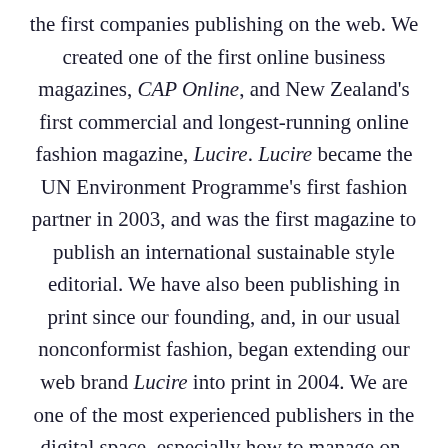the first companies publishing on the web. We created one of the first online business magazines, CAP Online, and New Zealand's first commercial and longest-running online fashion magazine, Lucire. Lucire became the UN Environment Programme's first fashion partner in 2003, and was the first magazine to publish an international sustainable style editorial. We have also been publishing in print since our founding, and, in our usual nonconformist fashion, began extending our web brand Lucire into print in 2004. We are one of the most experienced publishers in the digital space, especially how to manage on- and offline presences.